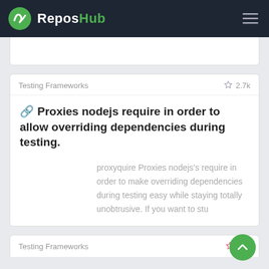ReposHub
Testing Frameworks ☆ 2.7k
🔗 Proxies nodejs require in order to allow overriding dependencies during testing.
proxyquire Proxies nodejs's require in order to make overriding dependencies during testing easy while staying totally unobtrusive. If you want to stu
Testing Frameworks ☆ 568